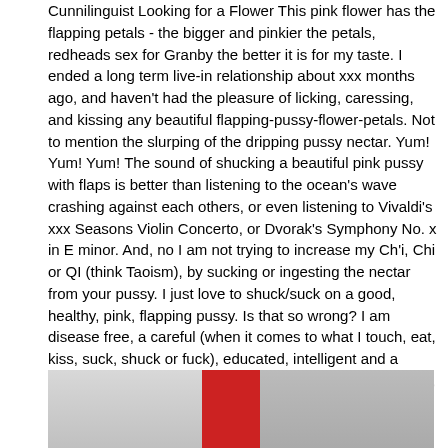Cunnilinguist Looking for a Flower This pink flower has the flapping petals - the bigger and pinkier the petals, redheads sex for Granby the better it is for my taste. I ended a long term live-in relationship about xxx months ago, and haven't had the pleasure of licking, caressing, and kissing any beautiful flapping-pussy-flower-petals. Not to mention the slurping of the dripping pussy nectar. Yum! Yum! Yum! The sound of shucking a beautiful pink pussy with flaps is better than listening to the ocean's wave crashing against each others, or even listening to Vivaldi's xxx Seasons Violin Concerto, or Dvorak's Symphony No. x in E minor. And, no I am not trying to increase my Ch'i, Chi or QI (think Taoism), by sucking or ingesting the nectar from your pussy. I just love to shuck/suck on a good, healthy, pink, flapping pussy. Is that so wrong? I am disease free, a careful (when it comes to what I touch, eat, kiss, suck, shuck or fuck), educated, intelligent and a successful professional. Therefore, you should be too, i.e., hygieniy clean, a careful, disease free, intelligent, educated, cultured and a decent human being. For some strange reasons, there isn't any fun in licking a cunt of a cunt, all puns intended - oh I am just as baffled as you are about it. Of course you are exactly what I have asked for, what I am looking for. However, it is actually easier to point out a disease ridden person than most people think. Regardless, we would have to be able to meet and greet first,
[Figure (photo): A partially visible photo showing what appears to be a person, with red and grey tones visible at the bottom of the page.]